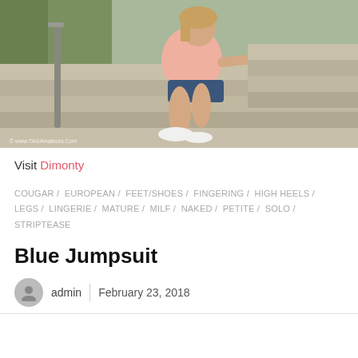[Figure (photo): Woman in pink shirt and denim shorts sitting on outdoor concrete steps, wearing white sneakers, with greenery in background. Watermark: © www.TAGAmateurs.Com]
Visit Dimonty
COUGAR / EUROPEAN / FEET/SHOES / FINGERING / HIGH HEELS / LEGS / LINGERIE / MATURE / MILF / NAKED / PETITE / SOLO / STRIPTEASE
Blue Jumpsuit
admin   February 23, 2018